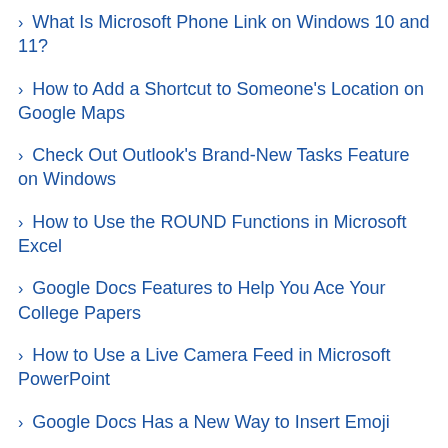› What Is Microsoft Phone Link on Windows 10 and 11?
› How to Add a Shortcut to Someone's Location on Google Maps
› Check Out Outlook's Brand-New Tasks Feature on Windows
› How to Use the ROUND Functions in Microsoft Excel
› Google Docs Features to Help You Ace Your College Papers
› How to Use a Live Camera Feed in Microsoft PowerPoint
› Google Docs Has a New Way to Insert Emoji
JOE FEDEWA